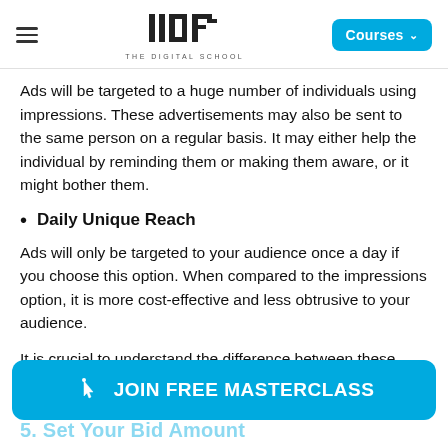IIDE THE DIGITAL SCHOOL | Courses
Ads will be targeted to a huge number of individuals using impressions. These advertisements may also be sent to the same person on a regular basis. It may either help the individual by reminding them or making them aware, or it might bother them.
Daily Unique Reach
Ads will only be targeted to your audience once a day if you choose this option. When compared to the impressions option, it is more cost-effective and less obtrusive to your audience.
It is crucial to understand the difference between these three as all three categories cater to a different set of
[Figure (other): JOIN FREE MASTERCLASS call-to-action button in blue with cursor icon]
5. Set Your Bid Amount